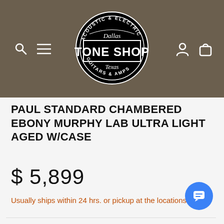[Figure (logo): Dallas Tone Shop Guitars & Amps circular logo — black and white badge with text 'ACOUSTIC & ELECTRIC', 'Dallas', 'TONE SHOP', 'Texas', 'GUITARS & AMPS']
PAUL STANDARD CHAMBERED EBONY MURPHY LAB ULTRA LIGHT AGED W/CASE
$ 5,899
Usually ships within 24 hrs. or pickup at the locations: